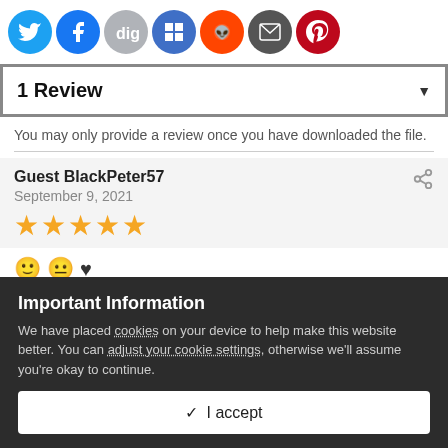[Figure (infographic): Row of social media sharing icons: Twitter (blue), Facebook (dark blue), Digg (gray), Delicious/bookmark (blue), Reddit (orange), Email (dark gray), Pinterest (dark red)]
1 Review
You may only provide a review once you have downloaded the file.
Guest BlackPeter57
September 9, 2021
★★★★★
[Figure (infographic): Reaction icons: smiley face, neutral face, heart]
Important Information
We have placed cookies on your device to help make this website better. You can adjust your cookie settings, otherwise we'll assume you're okay to continue.
✓  I accept